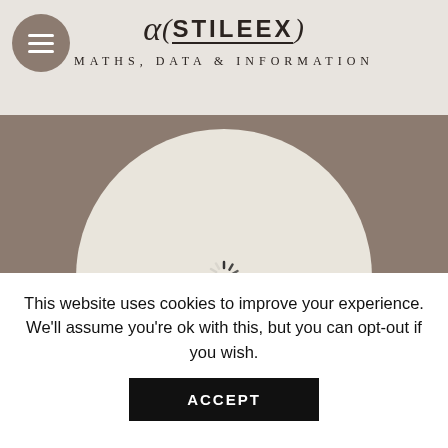[Figure (logo): Alpha Stileex logo with stylized alpha symbol and bracket decorations, underlined, above tagline 'Maths, Data & Information']
[Figure (illustration): Circular light beige image placeholder with a loading spinner icon in the center, set against a brownish-gray background]
Mathematician and entrepreneur in the countries of the Indian Ocean, in the Czech Republic and in France. Publication director at Stileex. Do not hesitate to contact me via Linkedin!
This website uses cookies to improve your experience. We'll assume you're ok with this, but you can opt-out if you wish.
ACCEPT